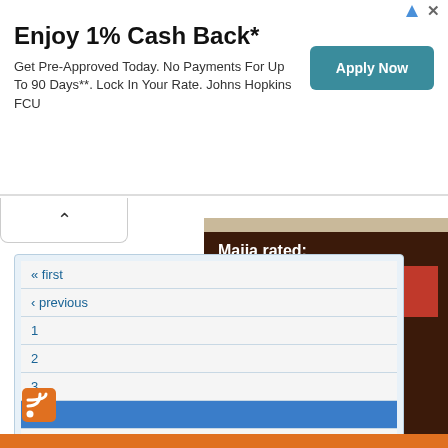[Figure (screenshot): Advertisement banner: Enjoy 1% Cash Back* with Apply Now button for Johns Hopkins FCU]
Enjoy 1% Cash Back*
Get Pre-Approved Today. No Payments For Up To 90 Days**. Lock In Your Rate. Johns Hopkins FCU
Maija rated:
MMMMM
« first
‹ previous
1
2
3
4
5
6
next ›
last »